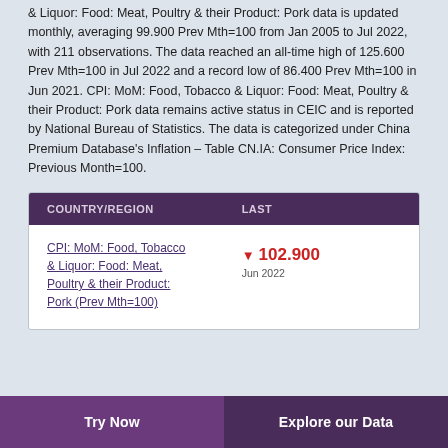& Liquor: Food: Meat, Poultry & their Product: Pork data is updated monthly, averaging 99.900 Prev Mth=100 from Jan 2005 to Jul 2022, with 211 observations. The data reached an all-time high of 125.600 Prev Mth=100 in Jul 2022 and a record low of 86.400 Prev Mth=100 in Jun 2021. CPI: MoM: Food, Tobacco & Liquor: Food: Meat, Poultry & their Product: Pork data remains active status in CEIC and is reported by National Bureau of Statistics. The data is categorized under China Premium Database's Inflation – Table CN.IA: Consumer Price Index: Previous Month=100.
| COUNTRY/REGION | LAST |
| --- | --- |
| CPI: MoM: Food, Tobacco & Liquor: Food: Meat, Poultry & their Product: Pork (Prev Mth=100) | ▼ 102.900 Jun 2022 |
Try Now    Explore our Data